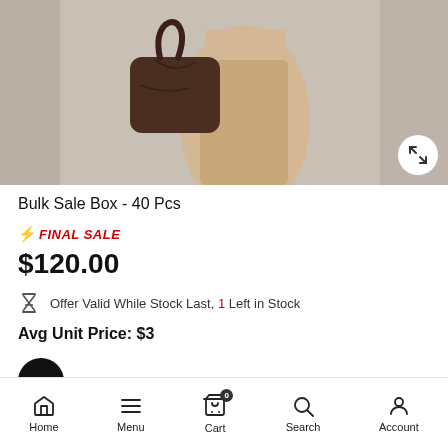[Figure (photo): Product photo showing a mannequin torso wearing a tan/beige dress with a dark brown handbag hanging on it, against a light grey background.]
Bulk Sale Box - 40 Pcs
⚡ FINAL SALE
$120.00
Offer Valid While Stock Last, 1 Left in Stock
Avg Unit Price: $3
$3
Home  Menu  Cart  Search  Account